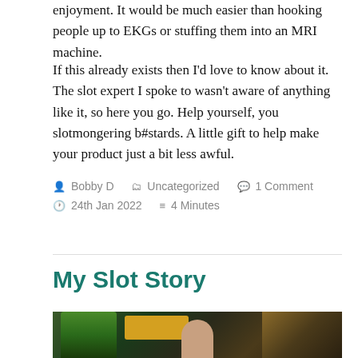enjoyment. It would be much easier than hooking people up to EKGs or stuffing them into an MRI machine.
If this already exists then I'd love to know about it. The slot expert I spoke to wasn't aware of anything like it, so here you go. Help yourself, you slotmongering b#stards. A little gift to help make your product just a bit less awful.
By Bobby D  Uncategorized  1 Comment
24th Jan 2022  4 Minutes
My Slot Story
[Figure (photo): Person photographed in front of slot machines with colorful displays]